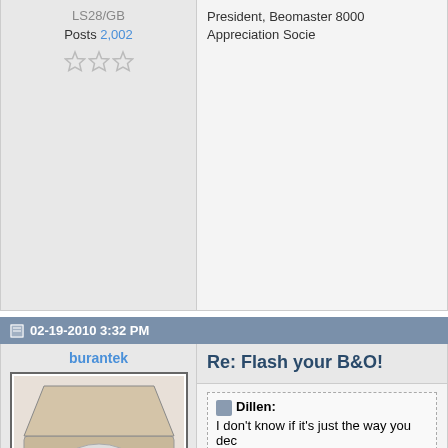LS28/GB
Posts 2,002
President, Beomaster 8000 Appreciation Socie...
02-19-2010 3:32 PM
burantek
[Figure (photo): Avatar image of a Bang & Olufsen turntable/record player, silver/beige colored, viewed from above at an angle, lid open.]
Joined on 05-04-2007
SE USA
Posts 6,214
Re: Flash your B&O!
Dillen:
I don't know if it's just the way you dec...
No doubt... he takes beautiful photos!
B&o bottle opener